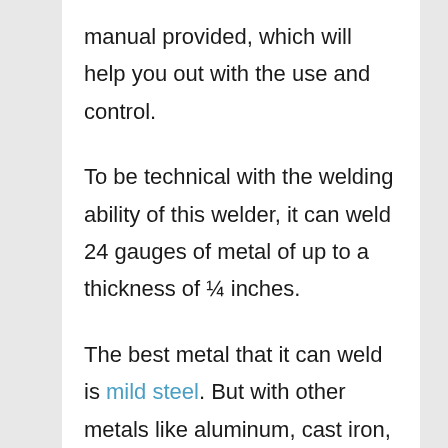manual provided, which will help you out with the use and control.
To be technical with the welding ability of this welder, it can weld 24 gauges of metal of up to a thickness of ¼ inches.
The best metal that it can weld is mild steel. But with other metals like aluminum, cast iron, solid iron, etc., it suits pretty well.
The work camp and the drive roll are another couple of advantages that you will